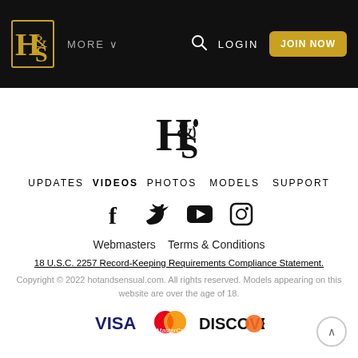H&S | MORE | LOGIN | JOIN NOW
[Figure (logo): H&S stylized monogram logo in black, centered on white background]
UPDATES  VIDEOS  PHOTOS  MODELS  SUPPORT
[Figure (illustration): Social media icons: Facebook, Twitter, YouTube, Instagram]
Webmasters  Terms & Conditions
18 U.S.C. 2257 Record-Keeping Requirements Compliance Statement.
Copyright © 2022 hotandsensual.com. All rights reserved. Models appearing on this website are over the age of 18.
[Figure (logo): Payment method logos: VISA, MasterCard, DISCOVER]